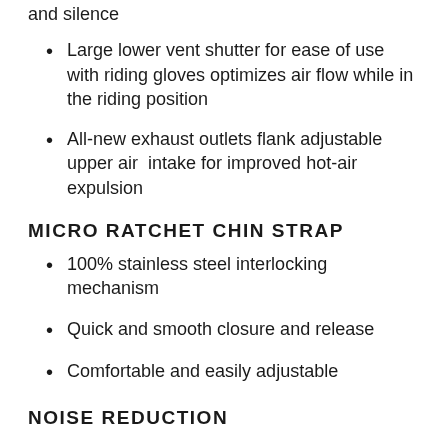and silence
Large lower vent shutter for ease of use with riding gloves optimizes air flow while in the riding position
All-new exhaust outlets flank adjustable upper air intake for improved hot-air expulsion
MICRO RATCHET CHIN STRAP
100% stainless steel interlocking mechanism
Quick and smooth closure and release
Comfortable and easily adjustable
NOISE REDUCTION